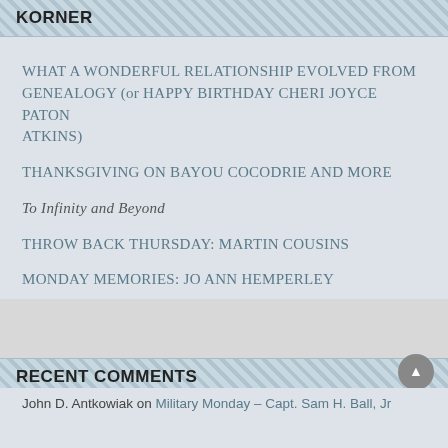KORNER
WHAT A WONDERFUL RELATIONSHIP EVOLVED FROM GENEALOGY (or HAPPY BIRTHDAY CHERI JOYCE PATON ATKINS)
THANKSGIVING ON BAYOU COCODRIE AND MORE
To Infinity and Beyond
THROW BACK THURSDAY: MARTIN COUSINS
MONDAY MEMORIES: JO ANN HEMPERLEY
RECENT COMMENTS
John D. Antkowiak on Military Monday – Capt. Sam H. Ball, Jr